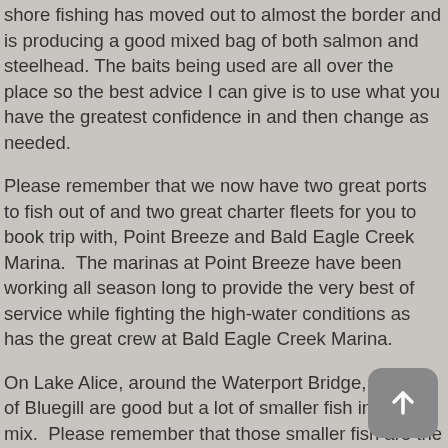shore fishing has moved out to almost the border and is producing a good mixed bag of both salmon and steelhead. The baits being used are all over the place so the best advice I can give is to use what you have the greatest confidence in and then change as needed.
Please remember that we now have two great ports to fish out of and two great charter fleets for you to book trip with, Point Breeze and Bald Eagle Creek Marina.  The marinas at Point Breeze have been working all season long to provide the very best of service while fighting the high-water conditions as has the great crew at Bald Eagle Creek Marina.
On Lake Alice, around the Waterport Bridge, catches of Bluegill are good but a lot of smaller fish in the mix.  Please remember that those smaller fish are the future catches so put them back to grow into next year's catch.  Bass fishing on Lake Alice remains good to very good in the upper reaches.